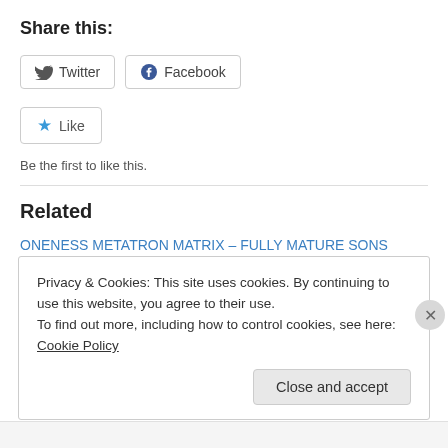Share this:
[Figure (other): Twitter and Facebook share buttons]
[Figure (other): Like button with star icon]
Be the first to like this.
Related
ONENESS METATRON MATRIX – FULLY MATURE SONS
November 30, 2017
In "Kingdom of God"
Privacy & Cookies: This site uses cookies. By continuing to use this website, you agree to their use.
To find out more, including how to control cookies, see here: Cookie Policy
Close and accept